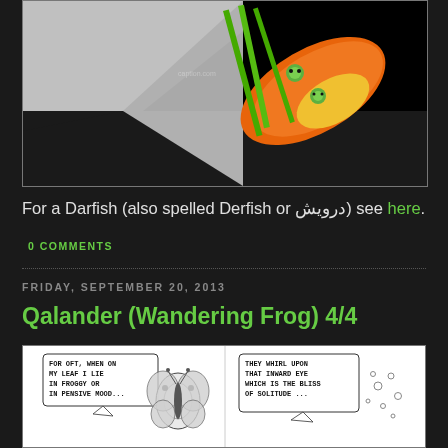[Figure (photo): Photo of an orange toy boat with green frog decorations and green stick-like objects, placed on a gray/white surface with dark background]
For a Darfish (also spelled Derfish or درویش) see here.
0 COMMENTS
FRIDAY, SEPTEMBER 20, 2013
Qalander (Wandering Frog) 4/4
[Figure (illustration): Comic strip with two panels. Left panel shows speech bubble: 'FOR OFT, WHEN ON MY LEAF I LIE IN FROGGY OR IN PENSIVE MOOD...' with a butterfly illustration. Right panel shows speech bubble: 'THEY WHIRL UPON THAT INWARD EYE WHICH IS THE BLISS OF SOLITUDE ...' with small circular shapes.]